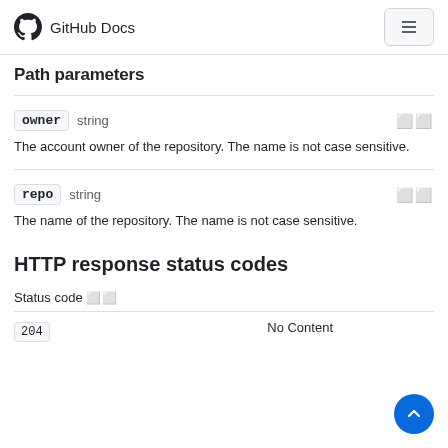GitHub Docs
Path parameters
owner  string
The account owner of the repository. The name is not case sensitive.
repo  string
The name of the repository. The name is not case sensitive.
HTTP response status codes
| Status code |  |
| --- | --- |
| 204 | No Content |